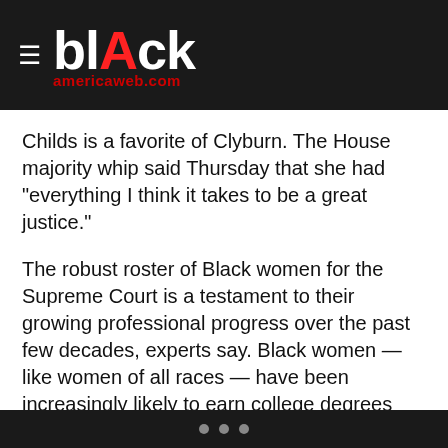blAck americaweb.com
Childs is a favorite of Clyburn. The House majority whip said Thursday that she had “everything I think it takes to be a great justice.”
The robust roster of Black women for the Supreme Court is a testament to their growing professional progress over the past few decades, experts say. Black women — like women of all races — have been increasingly likely to earn college degrees over the past two decades. Although they still lag in other crucial categories such as pay, the court seat is another milestone.
“We could not have imagined the sheer number of overqualified women a few decades ago,” Brown said